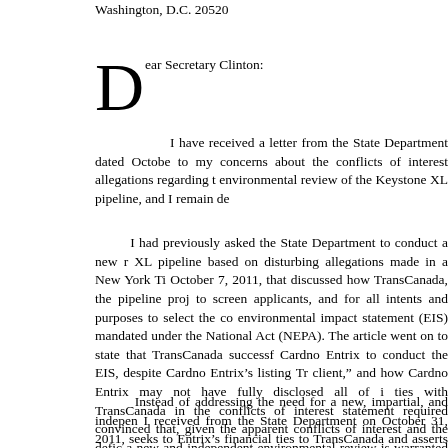Washington, D.C. 20520
Dear Secretary Clinton:
I have received a letter from the State Department dated October to my concerns about the conflicts of interest allegations regarding the environmental review of the Keystone XL pipeline, and I remain de
I had previously asked the State Department to conduct a new review of the Keystone XL pipeline based on disturbing allegations made in a New York Times article dated October 7, 2011, that discussed how TransCanada, the pipeline project, was able to screen applicants, and for all intents and purposes to select the contractor for the environmental impact statement (EIS) mandated under the National Environmental Policy Act (NEPA). The article went on to state that TransCanada successfully lobbied to have Cardno Entrix to conduct the EIS, despite Cardno Entrix's listing TransCanada as a “client,” and how Cardno Entrix may not have fully disclosed all of its financial ties with TransCanada in the conflicts of interest statement required by NEPA. I remain convinced that, given the apparent conflicts of interest and the deficiencies in the EIS, a new and independent environmental review is warranted in this instance.
Instead of addressing the need for a new, impartial, and independent review, the letter I received from the State Department on October 31, 2011, seeks to defend Cardno Entrix’s financial ties to TransCanada and asserts that the federal government contracted for Cardno Entrix, not TransCanada. However, it has recently come